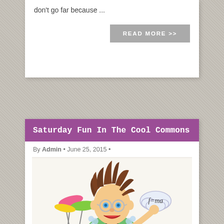don't go far because ...
READ MORE >>
Saturday Fun In The Cool Commons
By Admin • June 25, 2015 •
[Figure (illustration): Cartoon illustration of a mad scientist with wild hair, glasses, spinning colored discs on sticks, a green shirt, bow tie, with an f=ma equation in a speech bubble cloud, and star decorations.]